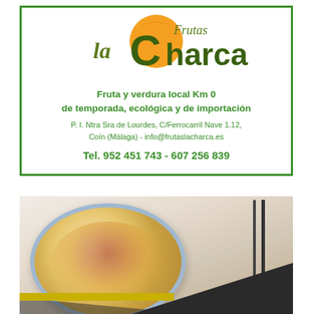[Figure (logo): Frutas La Charca logo with orange circle and green stylized text]
Fruta y verdura local Km 0
de temporada, ecológica y de importación
P. I. Ntra Sra de Lourdes, C/Ferrocarril Nave 1.12,
Coín (Málaga) - info@frutaslacharca.es
Tel. 952 451 743 - 607 256 839
[Figure (photo): Food photo showing a decorative bowl with a colorful salad dish, fork and knife in background, dark diagonal overlay at bottom right]